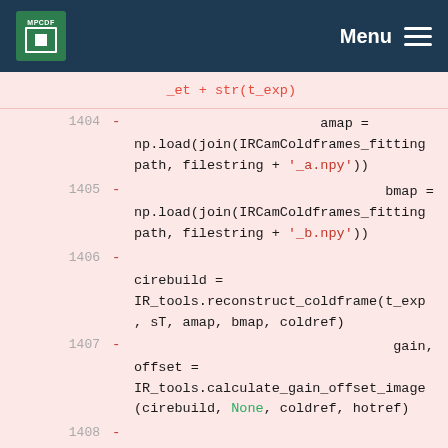MPCDF  Menu
_et + str(t_exp)
1404  -  amap = np.load(join(IRCamColdframes_fitting path, filestring + '_a.npy'))
1405  -  bmap = np.load(join(IRCamColdframes_fitting path, filestring + '_b.npy'))
1406  -  cirebuild = IR_tools.reconstruct_coldframe(t_exp, sT, amap, bmap, coldref)
1407  -  gain, offset = IR_tools.calculate_gain_offset_image(cirebuild, None, coldref, hotref)
1408  -  gain[gain == np.inf] = 0
1409  -  offset[offset == np.inf] = 0
1410  -  ...